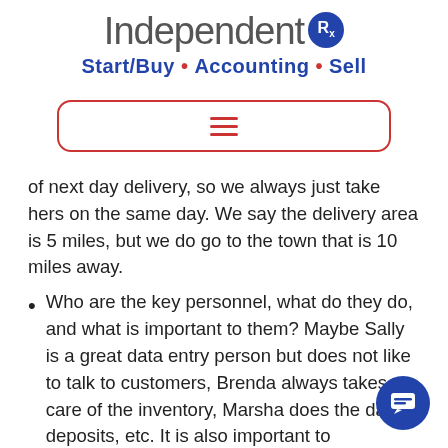Independent Rx — Start/Buy • Accounting • Sell
[Figure (other): Navigation menu button with hamburger icon inside a red rounded rectangle border]
of next day delivery, so we always just take hers on the same day. We say the delivery area is 5 miles, but we do go to the town that is 10 miles away.
Who are the key personnel, what do they do, and what is important to them? Maybe Sally is a great data entry person but does not like to talk to customers, Brenda always takes care of the inventory, Marsha does the daily deposits, etc. It is also important to understand what is important to the staff there a certain day off or hours that has been